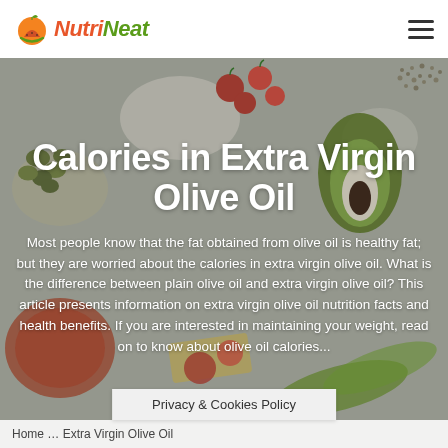NutriNeat
[Figure (photo): Food background image showing olives, tomatoes, avocado, grains, and other healthy foods on a light surface. Used as hero background on a nutrition website page.]
Calories in Extra Virgin Olive Oil
Most people know that the fat obtained from olive oil is healthy fat; but they are worried about the calories in extra virgin olive oil. What is the difference between plain olive oil and extra virgin olive oil? This article presents information on extra virgin olive oil nutrition facts and health benefits. If you are interested in maintaining your weight, read on to know about olive oil calories...
Privacy & Cookies Policy
Home … Extra Virgin Olive Oil